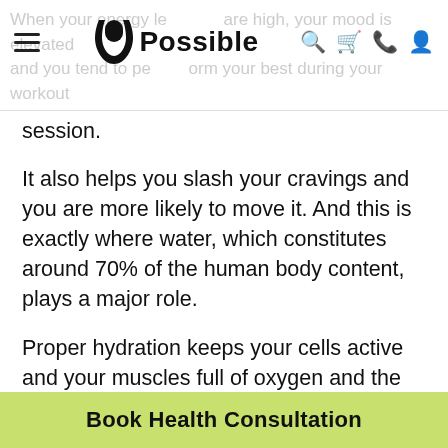Possible — navigation header with logo and icons
and you tend to perform your best during your workout session.
It also helps you slash your cravings and you are more likely to move it. And this is exactly where water, which constitutes around 70% of the human body content, plays a major role.
Proper hydration keeps your cells active and your muscles full of oxygen and the required nutrients. In this high energy state, your mind is also enabled to focus towards the workout session.
So next time when your heart tells you to inch towards the coffee machine, make sure first to grab that f…
Book Health Consultation